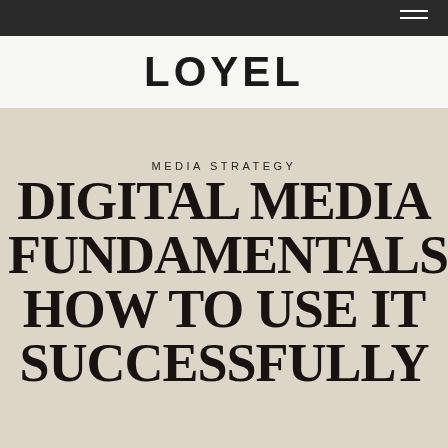LOYEL
MEDIA STRATEGY
DIGITAL MEDIA FUNDAMENTALS: HOW TO USE IT SUCCESSFULLY